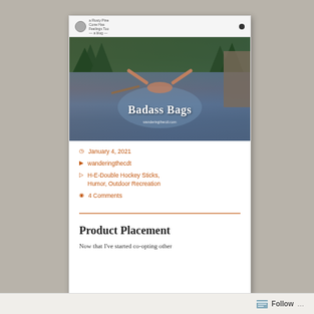[Figure (screenshot): Screenshot of a blog website showing a hero image of river/outdoor scene with text 'Badass Bags' overlaid, followed by post metadata and a second post title 'Product Placement']
January 4, 2021
wanderingthecdt
H-E-Double Hockey Sticks, Humor, Outdoor Recreation
4 Comments
Product Placement
Now that I've started co-opting other